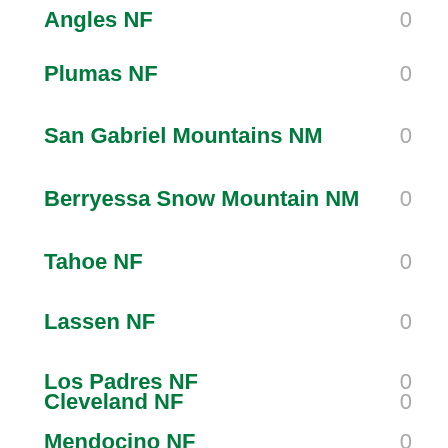Angles NF — 0
Plumas NF — 0
San Gabriel Mountains NM — 0
Berryessa Snow Mountain NM — 0
Tahoe NF — 0
Lassen NF — 0
Los Padres NF — 0
Cleveland NF — 0
Mendocino NF — 0